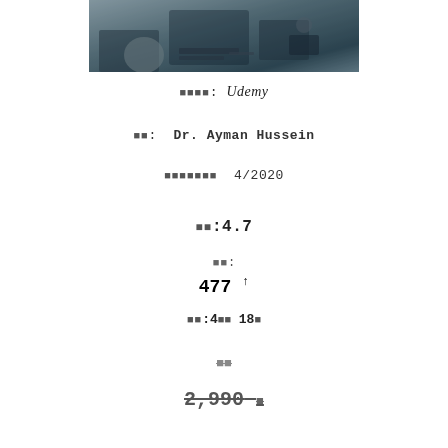[Figure (photo): Photo of a person working at a desk with a computer and equipment in the background]
플랫폼: Udemy
강사: Dr. Ayman Hussein
업데이트된 4/2020
평점:4.7
리뷰:
477 ↑
기간:4시간 18분
할인
2,990 원